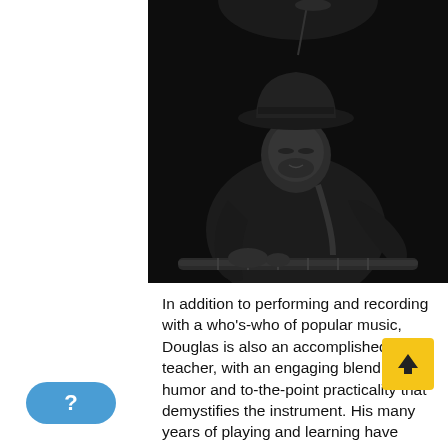[Figure (photo): Black and white photograph of a musician wearing a wide-brim hat, playing guitar or bass on a dark stage, looking downward]
In addition to performing and recording with a who's-who of popular music, Douglas is also an accomplished teacher, with an engaging blend of humor and to-the-point practicality that demystifies the instrument. His many years of playing and learning have further enhanced his innate ability to break down complex